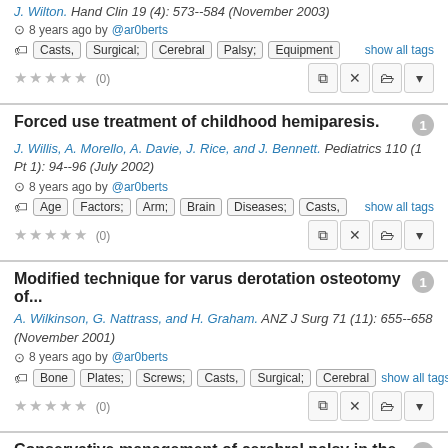J. Wilton. Hand Clin 19 (4): 573--584 (November 2003)
8 years ago by @ar0berts
Casts, Surgical; Cerebral Palsy; Equipment  show all tags
★★★★★ (0)
Forced use treatment of childhood hemiparesis.
J. Willis, A. Morello, A. Davie, J. Rice, and J. Bennett. Pediatrics 110 (1 Pt 1): 94--96 (July 2002)
8 years ago by @ar0berts
Age Factors; Arm; Brain Diseases; Casts,  show all tags
★★★★★ (0)
Modified technique for varus derotation osteotomy of...
A. Wilkinson, G. Nattrass, and H. Graham. ANZ J Surg 71 (11): 655--658 (November 2001)
8 years ago by @ar0berts
Bone Plates; Screws; Casts, Surgical; Cerebral  show all tags
★★★★★ (0)
Conservative management of cerebral palsy in the g...